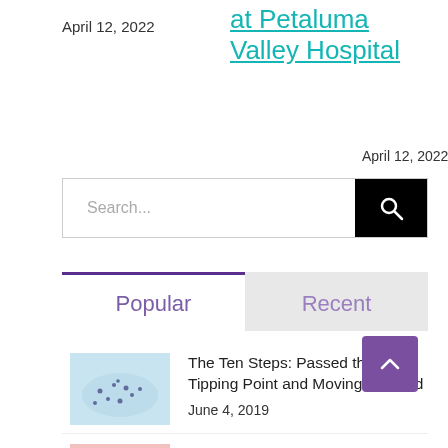April 12, 2022
at Petaluma Valley Hospital
April 12, 2022
Search...
Popular
Recent
[Figure (photo): Map thumbnail with scattered dots]
The Ten Steps: Passed the Tipping Point and Moving Forward
June 4, 2019
[Figure (photo): Baby-friendly thumbnail image with pink tones]
Celebrating 500 Baby-Friendly